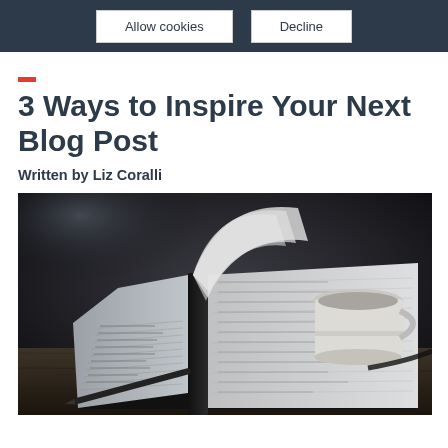Allow cookies | Decline
3 Ways to Inspire Your Next Blog Post
Written by Liz Coralli
[Figure (photo): An open notebook with pages fanning upward, a pen on the left side, and a white coffee cup in the background, all on a dark wooden surface, in moody dark lighting.]